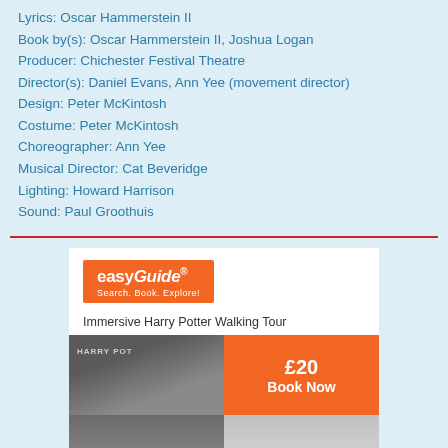Lyrics: Oscar Hammerstein II
Book by(s): Oscar Hammerstein II, Joshua Logan
Producer: Chichester Festival Theatre
Director(s): Daniel Evans, Ann Yee (movement director)
Design: Peter McKintosh
Costume: Peter McKintosh
Choreographer: Ann Yee
Musical Director: Cat Beveridge
Lighting: Howard Harrison
Sound: Paul Groothuis
[Figure (other): easyGuide advertisement for Immersive Harry Potter Walking Tour showing logo, tour title, photo collage and £20 Book Now orange button]